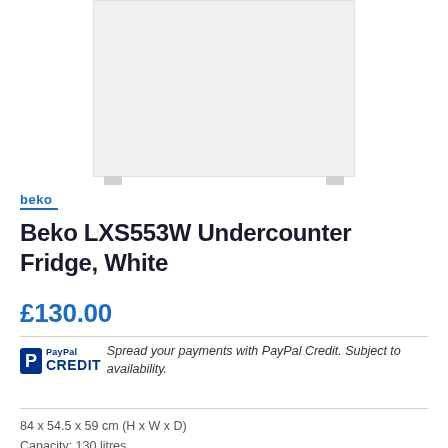[Figure (photo): Product photo of Beko LXS553W Undercounter Fridge in white, showing the front view of a white undercounter refrigerator with small legs at the bottom]
[Figure (logo): Beko brand logo in blue text with blue underline]
Beko LXS553W Undercounter Fridge, White
£130.00
[Figure (logo): PayPal Credit logo with blue P icon and PayPal Credit text]
Spread your payments with PayPal Credit. Subject to availability.
84 x 54.5 x 59 cm (H x W x D)
Capacity: 130 litres